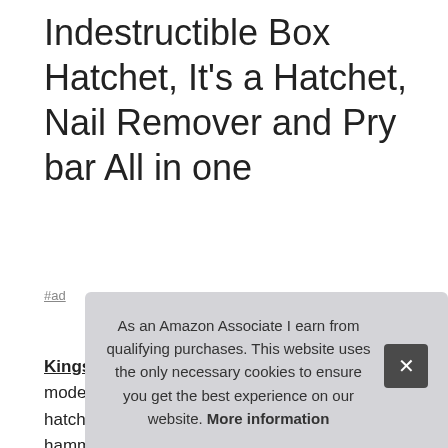Indestructible Box Hatchet, It's a Hatchet, Nail Remover and Pry bar All in one
#ad
Kings County Tools #ad - The rubber handle is a modern enhancement - sturdier and non-slip. Part hatchet, part nail remover and pry bar, part hammer, this design was originally used to close or open wooden tea crates - think India and the Empire. Famously ugly, and incredibly useful. Length 12". Black...
As an Amazon Associate I earn from qualifying purchases. This website uses the only necessary cookies to ensure you get the best experience on our website. More information